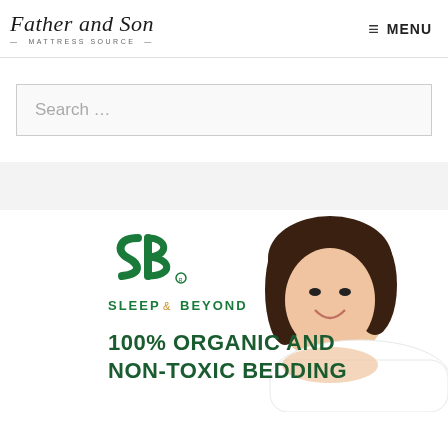Father and Son Mattress Source — MENU
Search …
[Figure (illustration): Sleep & Beyond advertisement banner showing logo with 'SB' monogram in green, company name 'SLEEP & BEYOND' in green and gold, a smiling woman with dark hair resting on white pillow, and text '100% ORGANIC AND NON-TOXIC BEDDING' in dark green]